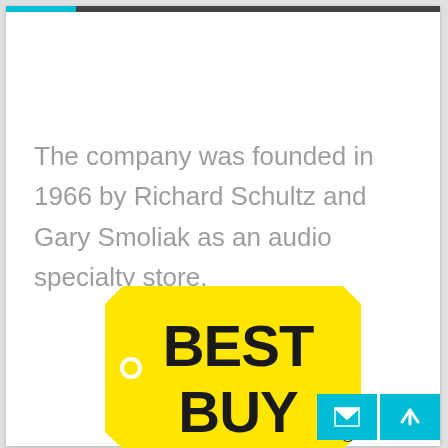The company was founded in 1966 by Richard Schultz and Gary Smoliak as an audio specialty store.
[Figure (logo): Best Buy logo — yellow price-tag shape with black bold text reading BEST BUY and a registered trademark symbol]